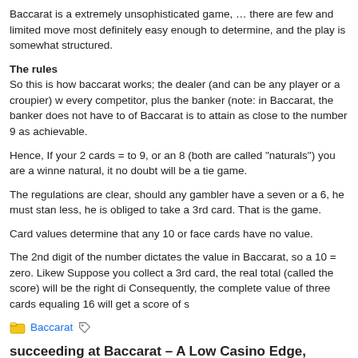Baccarat is a extremely unsophisticated game, … there are few and limited moves most definitely easy enough to determine, and the play is somewhat structured.
The rules
So this is how baccarat works; the dealer (and can be any player or a croupier) w every competitor, plus the banker (note: in Baccarat, the banker does not have to of Baccarat is to attain as close to the number 9 as achievable.
Hence, If your 2 cards = to 9, or an 8 (both are called "naturals") you are a winner natural, it no doubt will be a tie game.
The regulations are clear, should any gambler have a seven or a 6, he must stan less, he is obliged to take a 3rd card. That is the game.
Card values determine that any 10 or face cards have no value.
The 2nd digit of the number dictates the value in Baccarat, so a 10 = zero. Likew Suppose you collect a 3rd card, the real total (called the score) will be the right di Consequently, the complete value of three cards equaling 16 will get a score of s
Baccarat
succeeding at Baccarat – A Low Casino Edge, Simple and Fun To Bet o
February 4th, 2021   Kailey
If you're looking for a casino game with a small casino advantage and simple to excellent game and playing is nearly as simple as betting on the flip of a coin, r amateur bettors.